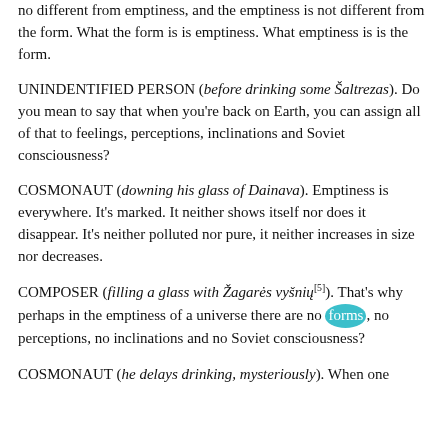no different from emptiness, and the emptiness is not different from the form. What the form is is emptiness. What emptiness is is the form.
UNINDENTIFIED PERSON (before drinking some Šaltrezas). Do you mean to say that when you're back on Earth, you can assign all of that to feelings, perceptions, inclinations and Soviet consciousness?
COSMONAUT (downing his glass of Dainava). Emptiness is everywhere. It's marked. It neither shows itself nor does it disappear. It's neither polluted nor pure, it neither increases in size nor decreases.
COMPOSER (filling a glass with Žagarės vyšnių[5]). That's why perhaps in the emptiness of a universe there are no forms, no perceptions, no inclinations and no Soviet consciousness?
COSMONAUT (he delays drinking, mysteriously). When one